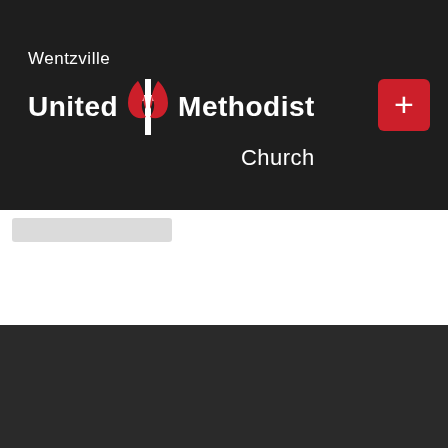[Figure (logo): Wentzville United Methodist Church logo with UMC cross and flame symbol in red. White text on dark background. Red plus button in top right corner.]